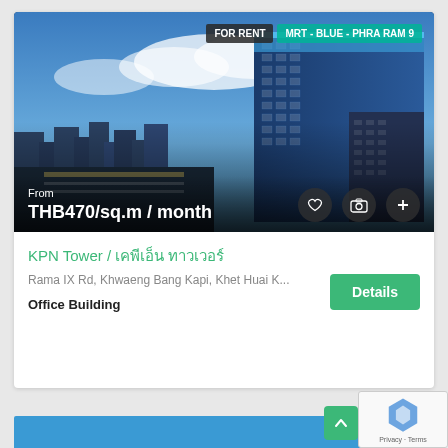[Figure (photo): Aerial/cityscape photo of KPN Tower, a modern blue glass office skyscraper in Bangkok, Thailand, with city skyline and highway in foreground. Overlaid badges: FOR RENT (dark), MRT - BLUE - PHRA RAM 9 (teal). Price overlay at bottom left: From THB470/sq.m / month. Action icons (heart, camera, plus) at bottom right.]
KPN Tower / เคพีเอ็น ทาวเวอร์
Rama IX Rd, Khwaeng Bang Kapi, Khet Huai K...
Office Building
Details